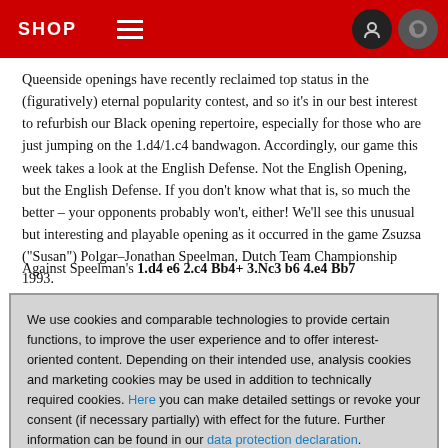SHOP
Queenside openings have recently reclaimed top status in the (figuratively) eternal popularity contest, and so it's in our best interest to refurbish our Black opening repertoire, especially for those who are just jumping on the 1.d4/1.c4 bandwagon. Accordingly, our game this week takes a look at the English Defense. Not the English Opening, but the English Defense. If you don't know what that is, so much the better – your opponents probably won't, either! We'll see this unusual but interesting and playable opening as it occurred in the game Zsuzsa ("Susan") Polgar–Jonathan Speelman, Dutch Team Championship 1993.
Against Speelman's 1.d4 e6 2.c4 Bb4+ 3.Nc3 b6 4.e4 Bb7
We use cookies and comparable technologies to provide certain functions, to improve the user experience and to offer interest-oriented content. Depending on their intended use, analysis cookies and marketing cookies may be used in addition to technically required cookies. Here you can make detailed settings or revoke your consent (if necessary partially) with effect for the future. Further information can be found in our data protection declaration.